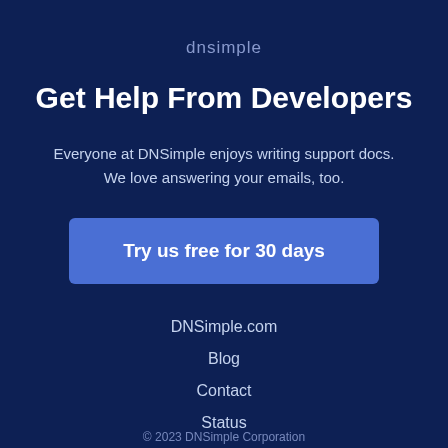dnsimple
Get Help From Developers
Everyone at DNSimple enjoys writing support docs. We love answering your emails, too.
Try us free for 30 days
DNSimple.com
Blog
Contact
Status
API
© 2023 DNSimple Corporation